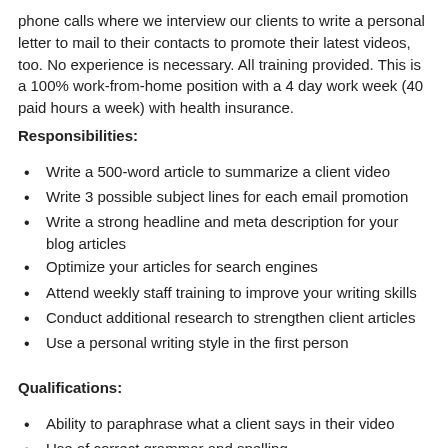phone calls where we interview our clients to write a personal letter to mail to their contacts to promote their latest videos, too. No experience is necessary. All training provided. This is a 100% work-from-home position with a 4 day work week (40 paid hours a week) with health insurance.
Responsibilities:
Write a 500-word article to summarize a client video
Write 3 possible subject lines for each email promotion
Write a strong headline and meta description for your blog articles
Optimize your articles for search engines
Attend weekly staff training to improve your writing skills
Conduct additional research to strengthen client articles
Use a personal writing style in the first person
Qualifications:
Ability to paraphrase what a client says in their video
Use of correct grammar and spelling
Proper use of cosmetics (line spacing, font choice, bold/italics)
Writing in a personal tone, ideally in the first person (ghostwriting)